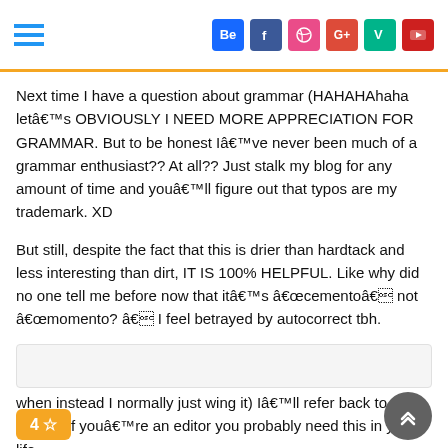Social media navigation header with hamburger menu and social icons: Be, f, dribbble, G+, vine, YouTube
Next time I have a question about grammar (HAHAHAhaha letâ€™s OBVIOUSLY I NEED MORE APPRECIATION FOR GRAMMAR. But to be honest Iâ€™ve never been much of a grammar enthusiast?? At all?? Just stalk my blog for any amount of time and youâ€™ll figure out that typos are my trademark. XD
But still, despite the fact that this is drier than hardtack and less interesting than dirt, IT IS 100% HELPFUL. Like why did no one tell me before now that itâ€™s â€œcementoâ€ not â€œmomento? â€ I feel betrayed by autocorrect tbh.
Next time I have a question about grammar (HAHAHAhaha letâ€™s just pretend I ask myself questions about grammar when instead I normally just wing it) Iâ€™ll refer back to this. :D Also if youâ€™re an editor you probably need this in your life.
...more